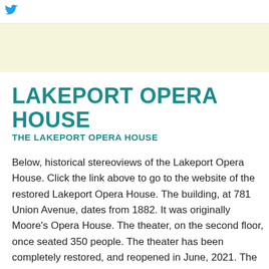LAKEPORT OPERA HOUSE
THE LAKEPORT OPERA HOUSE
Below, historical stereoviews of the Lakeport Opera House. Click the link above to go to the website of the restored Lakeport Opera House. The building, at 781 Union Avenue, dates from 1882. It was originally Moore's Opera House. The theater, on the second floor, once seated 350 people. The theater has been completely restored, and reopened in June, 2021. The Laconia Daily Sun reported on July 30, 2019, that it would relocate its operations to the first floor of the building. In 2020, the building was completely